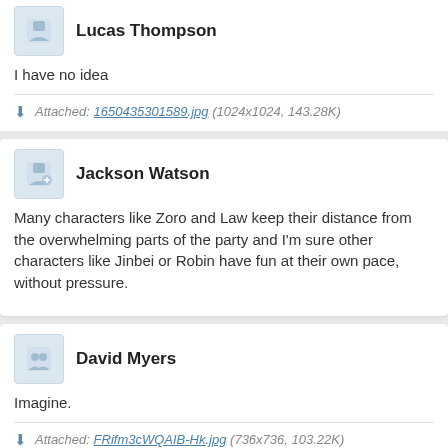Lucas Thompson
I have no idea
Attached: 1650435301589.jpg (1024x1024, 143.28K)
Jackson Watson
Many characters like Zoro and Law keep their distance from the overwhelming parts of the party and I'm sure other characters like Jinbei or Robin have fun at their own pace, without pressure.
David Myers
Imagine.
Attached: FRifm3cWQAIB-Hk.jpg (736x736, 103.22K)
Matthew Evans